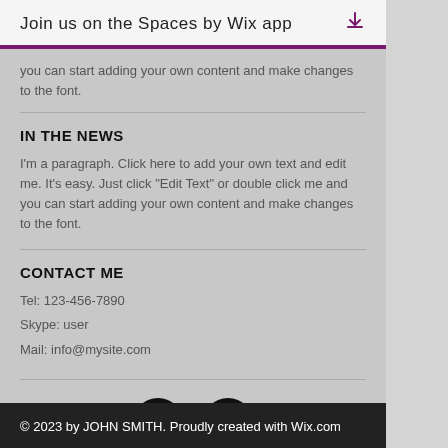Join us on the Spaces by Wix app
you can start adding your own content and make changes to the font.
IN THE NEWS
I'm a paragraph. Click here to add your own text and edit me. It's easy. Just click "Edit Text" or double click me and you can start adding your own content and make changes to the font.
CONTACT ME
Tel: 123-456-7890
Skype: user
Mail: info@mysite.com
[Figure (illustration): Two circular social media icons: Twitter bird icon and Facebook 'f' icon, both white on black circle backgrounds.]
© 2023 by JOHN SMITH. Proudly created with Wix.com